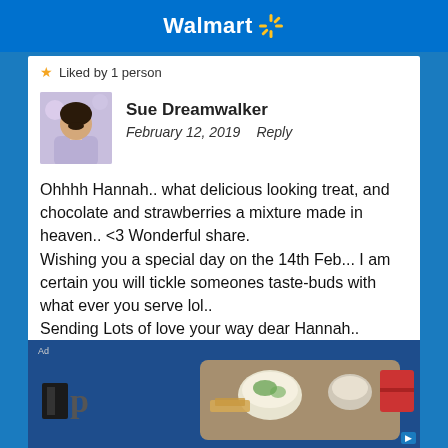Walmart
★ Liked by 1 person
Sue Dreamwalker
February 12, 2019    Reply
Ohhhh Hannah.. what delicious looking treat, and chocolate and strawberries a mixture made in heaven.. <3 Wonderful share.
Wishing you a special day on the 14th Feb... I am certain you will tickle someones taste-buds with what ever you serve lol..
Sending Lots of love your way dear Hannah..
Much love <3
[Figure (photo): Ad banner with food imagery showing bowls of dips and snacks on a wooden board, with a logo area on the left]